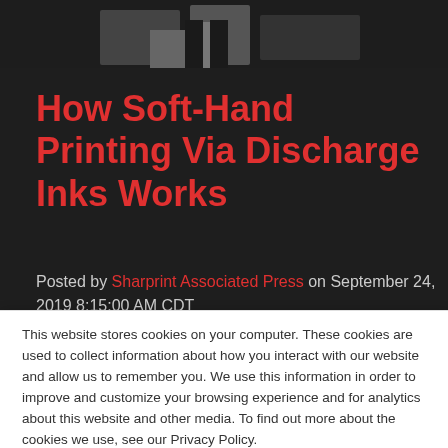[Figure (photo): Dark background with a black-and-white photo of a person's legs near printing equipment at the top of the page]
How Soft-Hand Printing Via Discharge Inks Works
Posted by Sharprint Associated Press on September 24, 2019 8:15:00 AM CDT
[Figure (photo): Partial view of a colorful printed textile or garment with red and black design]
This website stores cookies on your computer. These cookies are used to collect information about how you interact with our website and allow us to remember you. We use this information in order to improve and customize your browsing experience and for analytics about this website and other media. To find out more about the cookies we use, see our Privacy Policy.